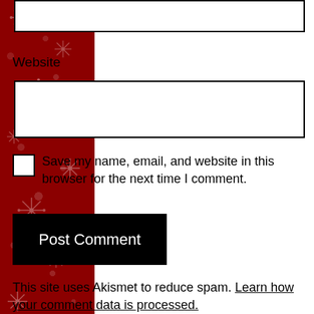Website
Save my name, email, and website in this browser for the next time I comment.
Post Comment
This site uses Akismet to reduce spam. Learn how your comment data is processed.